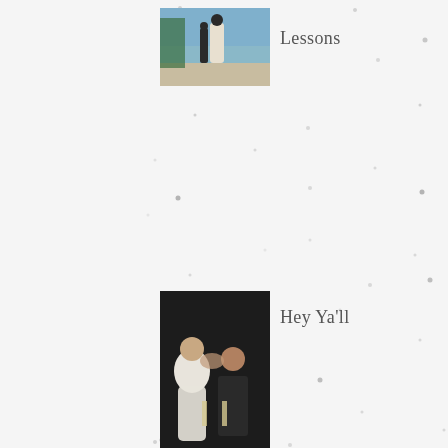[Figure (photo): Outdoor photo of a couple on a beach/waterfront, appearing to be a wedding photo]
Lessons
[Figure (photo): Couple kissing and holding champagne glasses, wedding celebration photo]
Hey Ya'll
[Figure (photo): Outdoor photo with people in red dresses in a forested setting]
Red Dress Project
Archive
April 2022 (1)